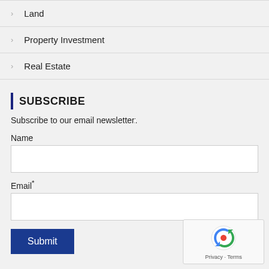Land
Property Investment
Real Estate
SUBSCRIBE
Subscribe to our email newsletter.
Name
Email*